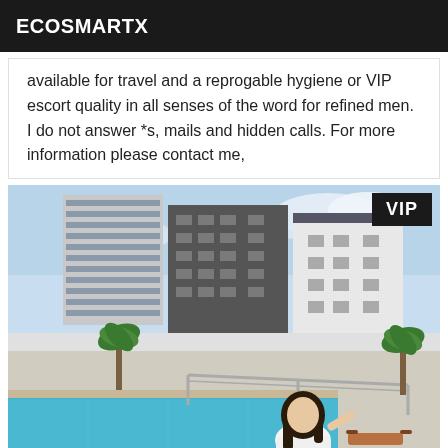ECOSMARTX
available for travel and a reprogable hygiene or VIP escort quality in all senses of the word for refined men. I do not answer *s, mails and hidden calls. For more information please contact me,
[Figure (photo): Outdoor pool area with woman in white shirt posing near metal railing. Background shows multi-story buildings and palm trees under a blue sky. VIP badge in top-right corner.]